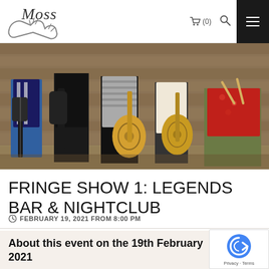MOSS — Navigation bar with cart (0), search, and menu icons
[Figure (photo): Band photo showing five people from waist down holding guitars and drumsticks, standing against a wooden wall background]
FRINGE SHOW 1: LEGENDS BAR & NIGHTCLUB
FEBRUARY 19, 2021 FROM 8:00 PM
About this event on the 19th February 2021